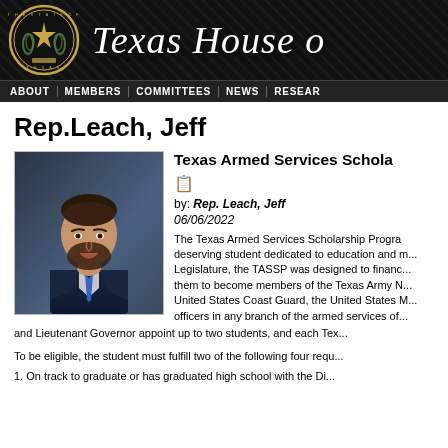Texas House [of Representatives]
Rep. Leach, Jeff
Texas Armed Services Scholarship Program
[Figure (photo): Official portrait photo of Rep. Jeff Leach in a navy suit with blue tie, smiling, with dark background]
by: Rep. Leach, Jeff
06/06/2022
The Texas Armed Services Scholarship Program... deserving student dedicated to education and m... Legislature, the TASSP was designed to financ... them to become members of the Texas Army N... United States Coast Guard, the United States M... officers in any branch of the armed services of... and Lieutenant Governor appoint up to two students, and each Tex...
To be eligible, the student must fulfill two of the following four requ...
1. On track to graduate or has graduated high school with the Di...